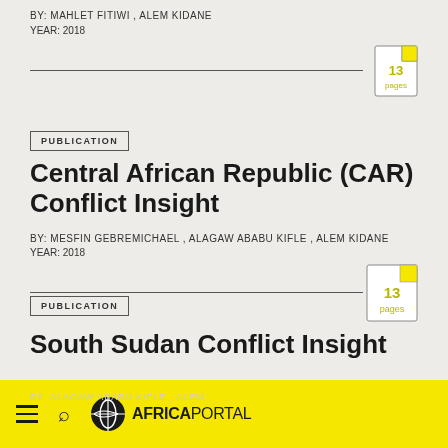BY: MAHLET FITIWI , ALEM KIDANE
YEAR: 2018
[Figure (other): Document icon showing 13 pages]
PUBLICATION
Central African Republic (CAR) Conflict Insight
BY: MESFIN GEBREMICHAEL , ALAGAW ABABU KIFLE , ALEM KIDANE
YEAR: 2018
[Figure (other): Document icon showing 13 pages]
PUBLICATION
South Sudan Conflict Insight
AFRICA PORTAL